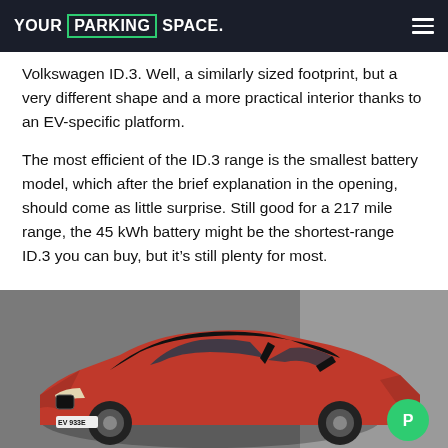YOUR PARKING SPACE.
Volkswagen ID.3. Well, a similarly sized footprint, but a very different shape and a more practical interior thanks to an EV-specific platform.
The most efficient of the ID.3 range is the smallest battery model, which after the brief explanation in the opening, should come as little surprise. Still good for a 217 mile range, the 45 kWh battery might be the shortest-range ID.3 you can buy, but it's still plenty for most.
[Figure (photo): A red and black BMW i3 electric car parked in a concrete garage setting, with a green circular parking badge in the bottom right corner.]